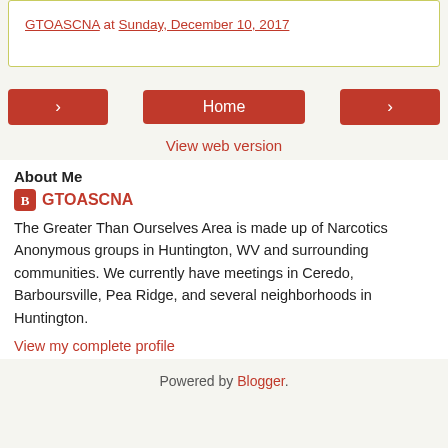GTOASCNA at Sunday, December 10, 2017
‹   Home   ›
View web version
About Me
GTOASCNA
The Greater Than Ourselves Area is made up of Narcotics Anonymous groups in Huntington, WV and surrounding communities. We currently have meetings in Ceredo, Barboursville, Pea Ridge, and several neighborhoods in Huntington.
View my complete profile
Powered by Blogger.